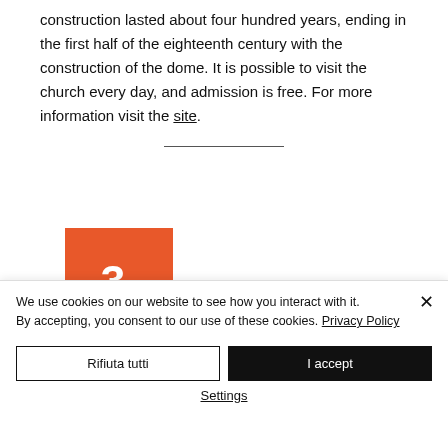construction lasted about four hundred years, ending in the first half of the eighteenth century with the construction of the dome. It is possible to visit the church every day, and admission is free. For more information visit the site.
[Figure (other): Orange square box with white bold number '3.' inside, representing a section number marker]
We use cookies on our website to see how you interact with it. By accepting, you consent to our use of these cookies. Privacy Policy
Rifiuta tutti
I accept
Settings